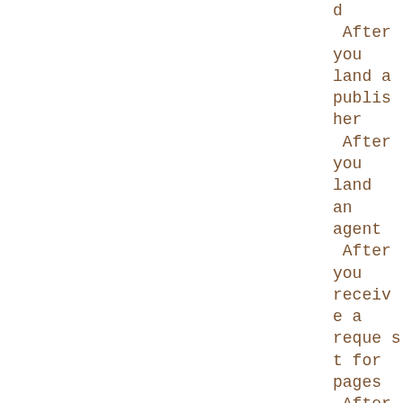d After you land a publisher After you land an agent After you receive a request for pages After you submi
After you land a publisher
After you land an agent
After you receive a request for pages
After you submi